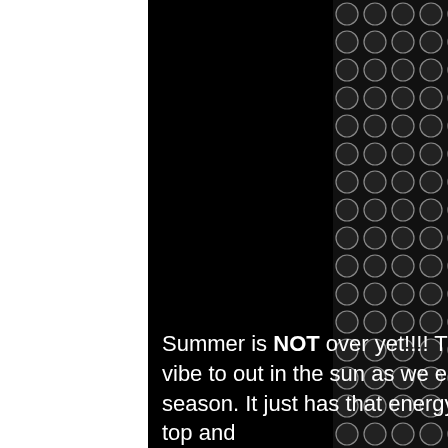[Figure (photo): A page with a white left margin, a large black center area (likely an album cover or media image), and a dark honeycomb/perforated pattern texture on the right side.]
Summer is NOT over yet!!!! This right here is a record to vibe to out in the sun as we enjoy what we have left of the season. It just has that energy. That "feel good" drop the top and